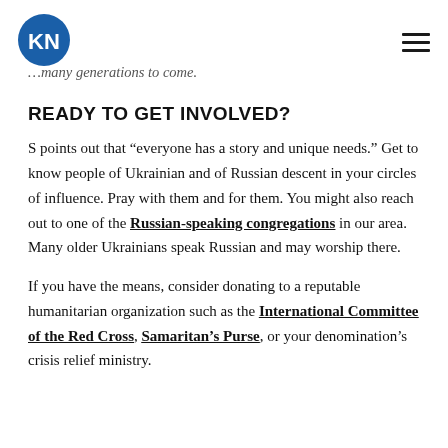KN logo and navigation menu
…many generations to come.
READY TO GET INVOLVED?
S points out that “everyone has a story and unique needs.” Get to know people of Ukrainian and of Russian descent in your circles of influence. Pray with them and for them. You might also reach out to one of the Russian-speaking congregations in our area. Many older Ukrainians speak Russian and may worship there.
If you have the means, consider donating to a reputable humanitarian organization such as the International Committee of the Red Cross, Samaritan’s Purse, or your denomination’s crisis relief ministry.